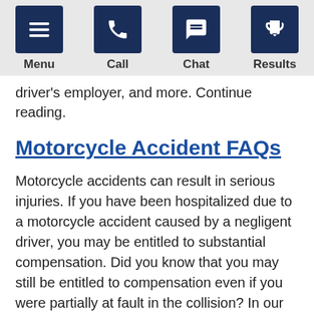Menu | Call | Chat | Results
driver's employer, and more. Continue reading.
Motorcycle Accident FAQs
Motorcycle accidents can result in serious injuries. If you have been hospitalized due to a motorcycle accident caused by a negligent driver, you may be entitled to substantial compensation. Did you know that you may still be entitled to compensation even if you were partially at fault in the collision? In our motorcycle accident FAQs, we explain Massachusetts' “comparative fault” rule and more. Continue reading.